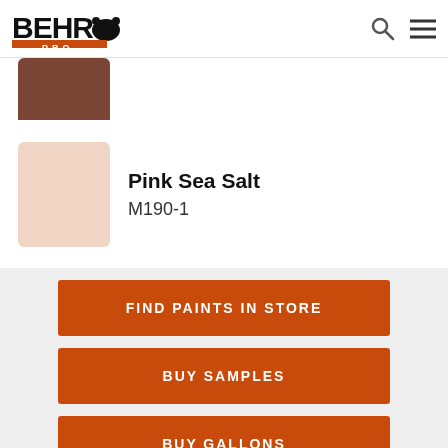[Figure (logo): BEHR PRO logo with bear icon, orange PRO banner, search icon, and hamburger menu icon in header]
[Figure (illustration): Partial brown paint color swatch (paint can chip) cut off at top]
Pink Sea Salt
M190-1
FIND PAINTS IN STORE
BUY SAMPLES
BUY GALLONS